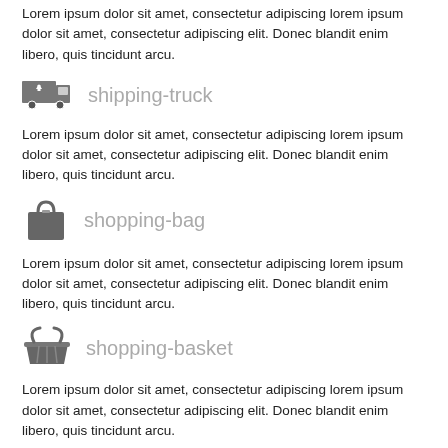Lorem ipsum dolor sit amet, consectetur adipiscing lorem ipsum dolor sit amet, consectetur adipiscing elit. Donec blandit enim libero, quis tincidunt arcu.
[Figure (illustration): Shipping truck icon]
shipping-truck
Lorem ipsum dolor sit amet, consectetur adipiscing lorem ipsum dolor sit amet, consectetur adipiscing elit. Donec blandit enim libero, quis tincidunt arcu.
[Figure (illustration): Shopping bag icon]
shopping-bag
Lorem ipsum dolor sit amet, consectetur adipiscing lorem ipsum dolor sit amet, consectetur adipiscing elit. Donec blandit enim libero, quis tincidunt arcu.
[Figure (illustration): Shopping basket icon]
shopping-basket
Lorem ipsum dolor sit amet, consectetur adipiscing lorem ipsum dolor sit amet, consectetur adipiscing elit. Donec blandit enim libero, quis tincidunt arcu.
[Figure (illustration): Tag icon]
tag